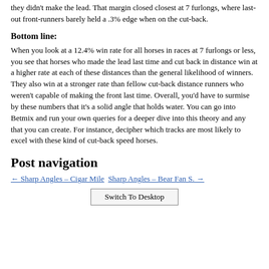they didn't make the lead. That margin closed closest at 7 furlongs, where last-out front-runners barely held a .3% edge when on the cut-back.
Bottom line:
When you look at a 12.4% win rate for all horses in races at 7 furlongs or less, you see that horses who made the lead last time and cut back in distance win at a higher rate at each of these distances than the general likelihood of winners. They also win at a stronger rate than fellow cut-back distance runners who weren't capable of making the front last time. Overall, you'd have to surmise by these numbers that it's a solid angle that holds water. You can go into Betmix and run your own queries for a deeper dive into this theory and any that you can create. For instance, decipher which tracks are most likely to excel with these kind of cut-back speed horses.
Post navigation
← Sharp Angles – Cigar Mile
Sharp Angles – Bear Fan S. →
Switch To Desktop